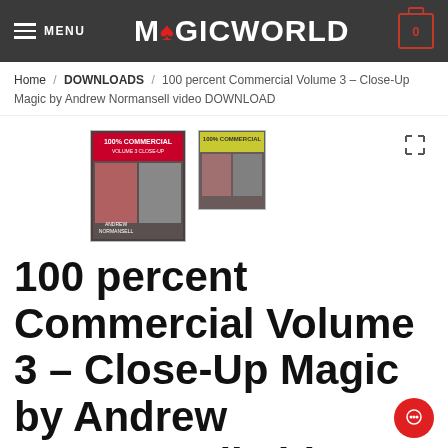MENU  MAGICWORLD
Home / DOWNLOADS / 100 percent Commercial Volume 3 – Close-Up Magic by Andrew Normansell video DOWNLOAD
[Figure (photo): Two product images of 100 percent Commercial Volume 3 DVD covers showing two men, with an expand icon in the top right]
100 percent Commercial Volume 3 – Close-Up Magic by Andrew Normansell video DOWNLOAD